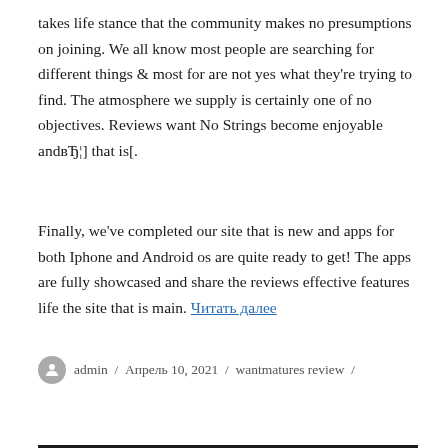takes life stance that the community makes no presumptions on joining. We all know most people are searching for different things & most for are not yes what they're trying to find. The atmosphere we supply is certainly one of no objectives. Reviews want No Strings become enjoyable andвЂ¦] that is[.
Finally, we've completed our site that is new and apps for both Iphone and Android os are quite ready to get! The apps are fully showcased and share the reviews effective features life the site that is main. Читать далее
admin / Апрель 10, 2021 / wantmatures review / Добавить комментарий